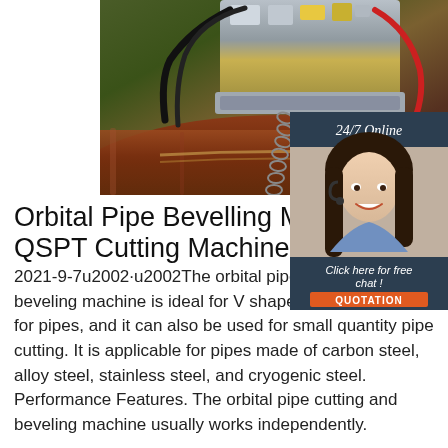[Figure (photo): Orbital pipe bevelling/cutting machine clamped onto a large rusty pipe, with chain mechanism visible, industrial setting]
[Figure (photo): 24/7 Online customer service widget: dark blue background with 'Click here for free chat!' text, a female agent with headset, and an orange QUOTATION button]
Orbital Pipe Bevelling Machine QSPT Cutting Machine ...
2021-9-7u2002·u2002The orbital pipe cutting and beveling machine is ideal for V shaped beveling cutting for pipes, and it can also be used for small quantity pipe cutting. It is applicable for pipes made of carbon steel, alloy steel, stainless steel, and cryogenic steel. Performance Features. The orbital pipe cutting and beveling machine usually works independently.